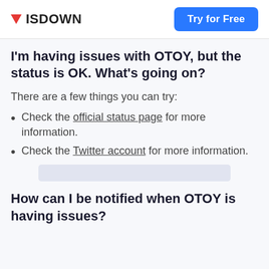ISDOWN | Try for Free
I'm having issues with OTOY, but the status is OK. What's going on?
There are a few things you can try:
Check the official status page for more information.
Check the Twitter account for more information.
How can I be notified when OTOY is having issues?